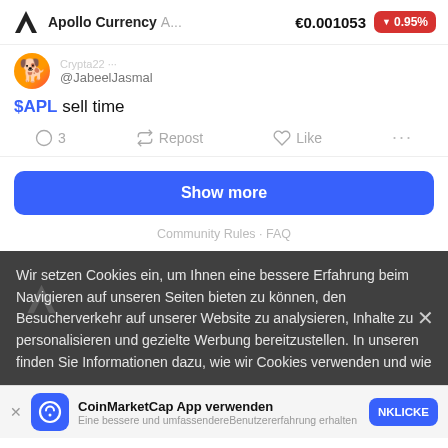Apollo Currency A... €0.001053 ▼0.95%
@JabeelJasmal
$APL sell time
3  Repost  Like  ...
Show more
Community Rules · FAQ
Wir setzen Cookies ein, um Ihnen eine bessere Erfahrung beim Navigieren auf unseren Seiten bieten zu können, den Besucherverkehr auf unserer Website zu analysieren, Inhalte zu personalisieren und gezielte Werbung bereitzustellen. In unseren finden Sie Informationen dazu, wie wir Cookies verwenden und wie
CoinMarketCap App verwenden — Eine bessere und umfassendereBenutzererfahrung erhalten — NKLICKE